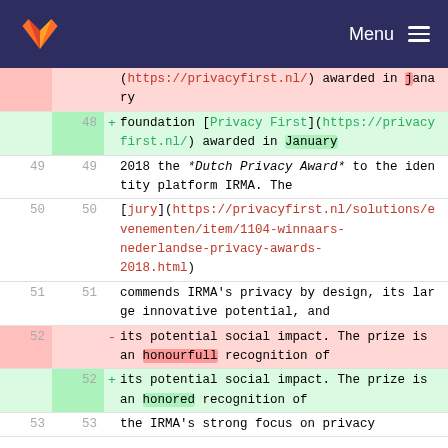Menu
| old | new | sign | content |
| --- | --- | --- | --- |
|  |  |  | (https://privacyfirst.nl/) awarded in janary |
| 48 |  | + | foundation [Privacy First](https://privacyfirst.nl/) awarded in January |
| 49 | 49 |  | 2018 the *Dutch Privacy Award* to the identity platform IRMA. The |
| 50 | 50 |  | [jury](https://privacyfirst.nl/solutions/evenementen/item/1104-winnaars-nederlandse-privacy-awards-2018.html) |
| 51 | 51 |  | commends IRMA's privacy by design, its large innovative potential, and |
| 52 |  | - | its potential social impact. The prize is an honourfull recognition of |
|  | 52 | + | its potential social impact. The prize is an honored recognition of |
| 53 | 53 |  | the IRMA's strong focus on privacy |